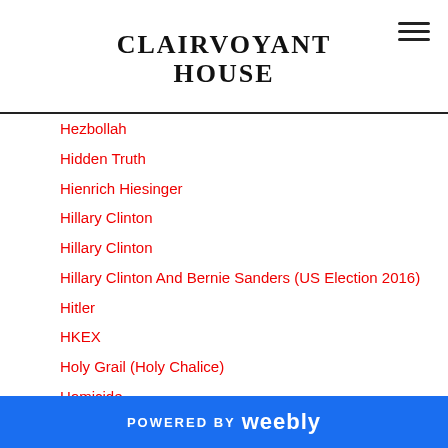CLAIRVOYANT HOUSE
Hezbollah
Hidden Truth
Hienrich Hiesinger
Hillary Clinton
Hillary Clinton
Hillary Clinton And Bernie Sanders (US Election 2016)
Hitler
HKEX
Holy Grail (Holy Chalice)
Homicide
Honey Sherman
Hong Kong Exchange And Clearing
Hostages
Hottest News Predictions
POWERED BY weebly